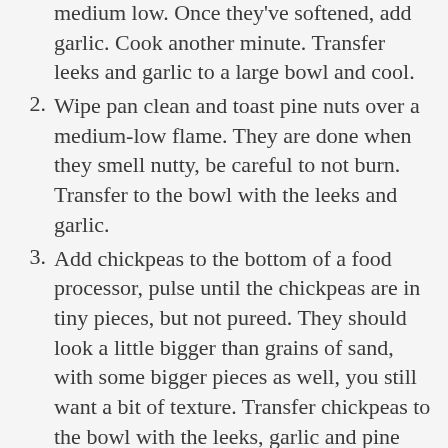(continued) medium low. Once they've softened, add garlic. Cook another minute. Transfer leeks and garlic to a large bowl and cool.
2. Wipe pan clean and toast pine nuts over a medium-low flame. They are done when they smell nutty, be careful to not burn. Transfer to the bowl with the leeks and garlic.
3. Add chickpeas to the bottom of a food processor, pulse until the chickpeas are in tiny pieces, but not pureed. They should look a little bigger than grains of sand, with some bigger pieces as well, you still want a bit of texture. Transfer chickpeas to the bowl with the leeks, garlic and pine nuts.
4. Add egg, lemon zest, juice, Dijon, breadcrumbs and remaining [ad overlay] mbined. Use a [ad overlay].